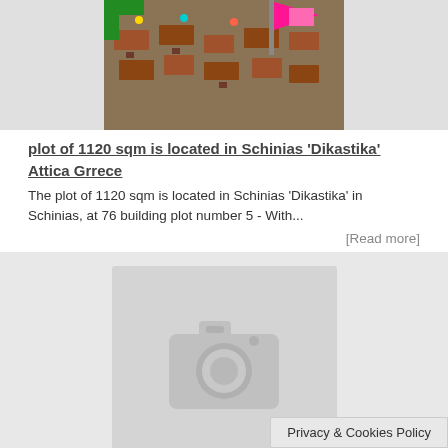[Figure (photo): Aerial photo of outdoor wooden furniture/market area with a pink flag visible]
plot of 1120 sqm is located in Schinias 'Dikastika' Attica Grrece
The plot of 1120 sqm is located in Schinias 'Dikastika' in Schinias, at 76 building plot number 5 - With...
[Read more]
[Figure (photo): No image available placeholder with camera icon]
Privacy & Cookies Policy